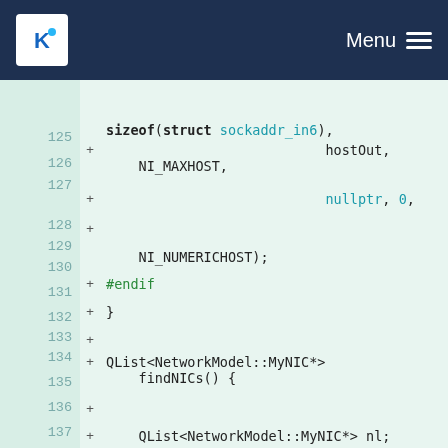KDE Menu
Code diff view showing C++ source code lines 125-137 with additions marked by +
[Figure (screenshot): KDE website navigation header with KDE logo and Menu hamburger icon on dark navy background]